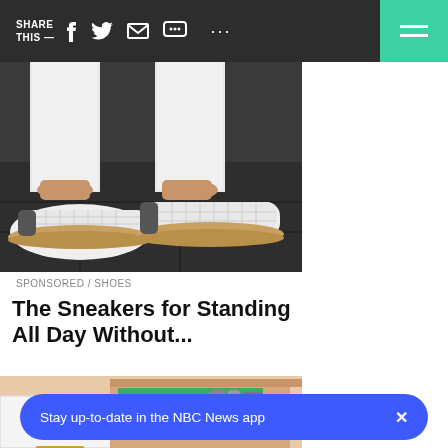SHARE THIS —
[Figure (photo): Person wearing white mesh sneakers with tan/jute soles, standing on dark pavement, wearing white jeans]
SPONSORED / SHOES
The Sneakers for Standing All Day Without...
[Figure (illustration): Illustrated cartoon of an open kitchen drawer with cockroaches, showing green paper liner and kitchen utensils]
Stay up-to-date in the NBC News app